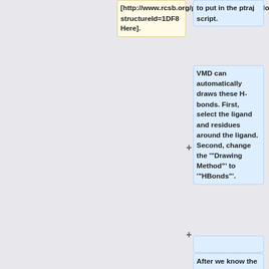[http://www.rcsb.org/pdb/explore/explore.do?structureId=1DF8 Here].
to put in the ptraj script.
VMD can automatically draws these H-bonds. First, select the ligand and residues around the ligand. Second, change the '"Drawing Method"' to '"HBonds"'.
After we know the atom name